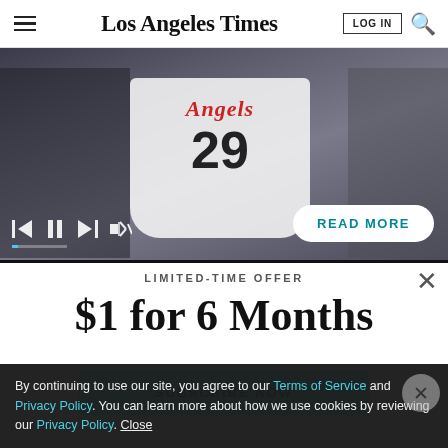Los Angeles Times
[Figure (photo): Video player showing a baseball player wearing an Angels jersey number 29, with video controls (skip back, pause, skip forward, mute) and a READ MORE button overlay]
LIMITED-TIME OFFER
$1 for 6 Months
SUBSCRIBE NOW
By continuing to use our site, you agree to our Terms of Service and Privacy Policy. You can learn more about how we use cookies by reviewing our Privacy Policy. Close